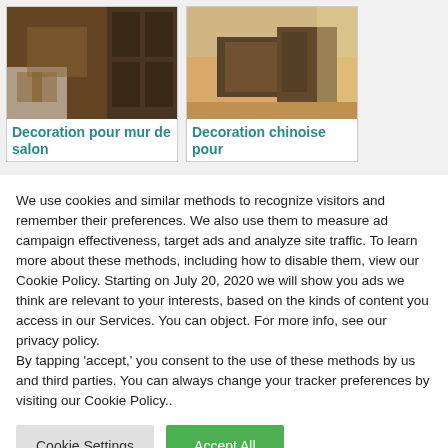[Figure (photo): Interior room photo showing a living room with fireplace and dark wood bookshelf]
Decoration pour mur de salon
[Figure (photo): Interior bedroom photo with dark wood furniture and warm lighting]
Decoration chinoise pour
We use cookies and similar methods to recognize visitors and remember their preferences. We also use them to measure ad campaign effectiveness, target ads and analyze site traffic. To learn more about these methods, including how to disable them, view our Cookie Policy. Starting on July 20, 2020 we will show you ads we think are relevant to your interests, based on the kinds of content you access in our Services. You can object. For more info, see our privacy policy.
By tapping 'accept,' you consent to the use of these methods by us and third parties. You can always change your tracker preferences by visiting our Cookie Policy..
Cookie Settings
Accept All